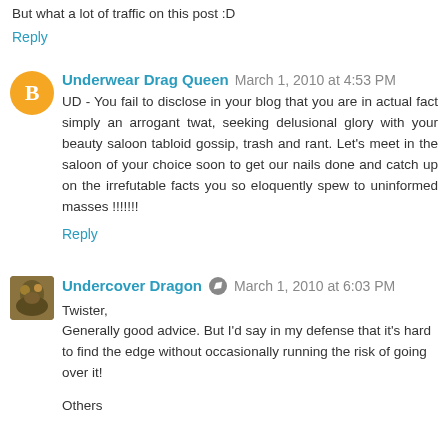But what a lot of traffic on this post :D
Reply
Underwear Drag Queen  March 1, 2010 at 4:53 PM
UD - You fail to disclose in your blog that you are in actual fact simply an arrogant twat, seeking delusional glory with your beauty saloon tabloid gossip, trash and rant. Let's meet in the saloon of your choice soon to get our nails done and catch up on the irrefutable facts you so eloquently spew to uninformed masses !!!!!!!
Reply
Undercover Dragon  March 1, 2010 at 6:03 PM
Twister,
Generally good advice. But I'd say in my defense that it's hard to find the edge without occasionally running the risk of going over it!

Others